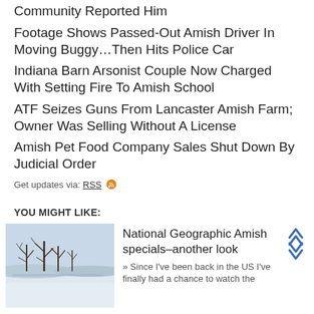Community Reported Him
Footage Shows Passed-Out Amish Driver In Moving Buggy…Then Hits Police Car
Indiana Barn Arsonist Couple Now Charged With Setting Fire To Amish School
ATF Seizes Guns From Lancaster Amish Farm; Owner Was Selling Without A License
Amish Pet Food Company Sales Shut Down By Judicial Order
Get updates via: RSS 🔶
YOU MIGHT LIKE:
[Figure (photo): Winter scene with bare trees and snow, Amish countryside]
National Geographic Amish specials–another look » Since I've been back in the US I've finally had a chance to watch the